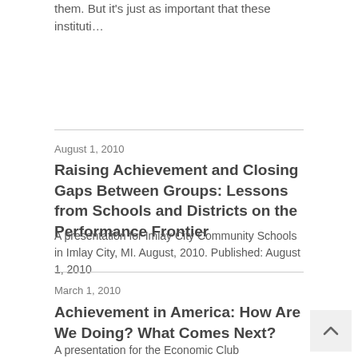them. But it's just as important that these instituti…
August 1, 2010
Raising Achievement and Closing Gaps Between Groups: Lessons from Schools and Districts on the Performance Frontier
A presentation for Imlay City Community Schools in Imlay City, MI. August, 2010. Published: August 1, 2010
March 1, 2010
Achievement in America: How Are We Doing? What Comes Next?
A presentation for the Economic Club in